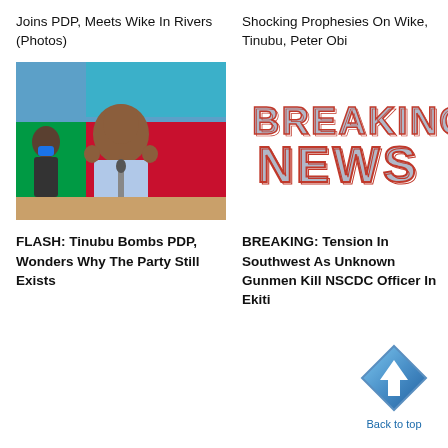Joins PDP, Meets Wike In Rivers (Photos)
Shocking Prophesies On Wike, Tinubu, Peter Obi
[Figure (photo): Photo of Tinubu waving at an event, wearing a light blue outfit, standing at a podium with a microphone, with a red/green background and another person in a suit and face mask behind him.]
[Figure (other): Breaking News graphic with large 3D chrome and red letters spelling BREAKING NEWS on a white background.]
FLASH: Tinubu Bombs PDP, Wonders Why The Party Still Exists
BREAKING: Tension In Southwest As Unknown Gunmen Kill NSCDC Officer In Ekiti
[Figure (other): Back to top button: a blue diamond/rhombus shape with a white upward arrow inside it, and the text 'Back to top' below.]